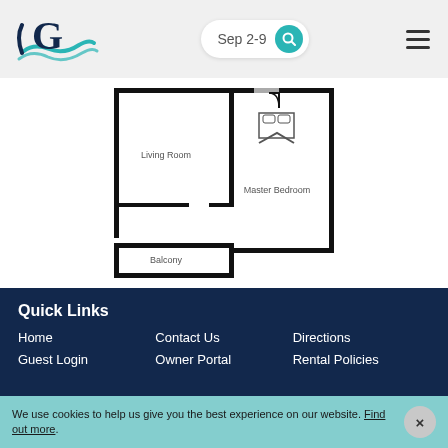[Figure (logo): G logo with teal wave swoosh for a vacation rental company]
Sep 2-9
[Figure (engineering-diagram): Apartment floor plan showing Living Room (left), Master Bedroom (right), and Balcony (bottom left). Black outlines with labeled rooms, door symbols shown.]
Quick Links
Home
Guest Login
Contact Us
Owner Portal
Directions
Rental Policies
We use cookies to help us give you the best experience on our website. Find out more.